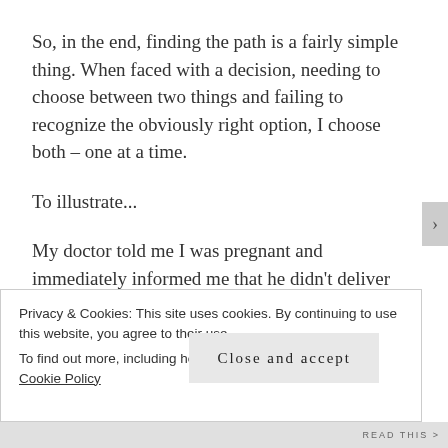So, in the end, finding the path is a fairly simple thing. When faced with a decision, needing to choose between two things and failing to recognize the obviously right option, I choose both – one at a time.
To illustrate...
My doctor told me I was pregnant and immediately informed me that he didn't deliver babies anymore. I was instantly thrown into turmoil, not knowing who to go to, who I should trust with the delivery of my child. I began
Privacy & Cookies: This site uses cookies. By continuing to use this website, you agree to their use.
To find out more, including how to control cookies, see here: Cookie Policy
Close and accept